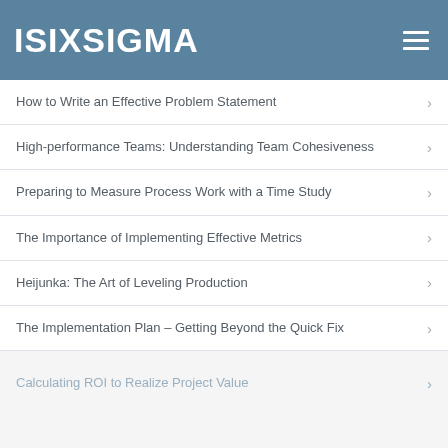ISIXSIGMA
How to Write an Effective Problem Statement
High-performance Teams: Understanding Team Cohesiveness
Preparing to Measure Process Work with a Time Study
The Importance of Implementing Effective Metrics
Heijunka: The Art of Leveling Production
The Implementation Plan – Getting Beyond the Quick Fix
Calculating ROI to Realize Project Value